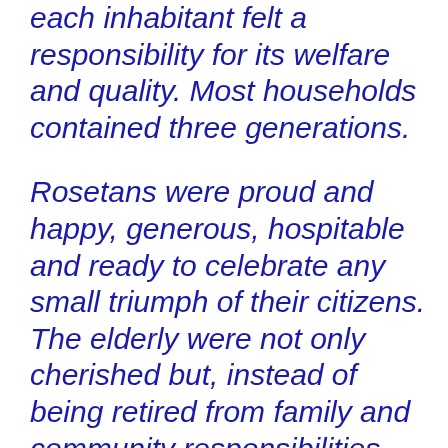each inhabitant felt a responsibility for its welfare and quality. Most households contained three generations.
Rosetans were proud and happy, generous, hospitable and ready to celebrate any small triumph of their citizens. The elderly were not only cherished but, instead of being retired from family and community responsibilities, they were promoted to the ‘supreme court’. There was no shortage of stress among Rosetans. They